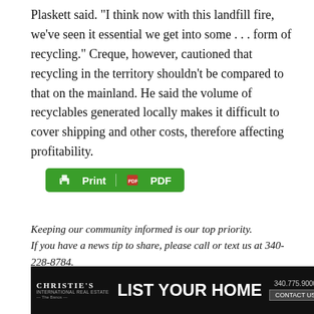Plaskett said. "I think now with this landfill fire, we've seen it essential we get into some . . . form of recycling." Creque, however, cautioned that recycling in the territory shouldn't be compared to that on the mainland. He said the volume of recyclables generated locally makes it difficult to cover shipping and other costs, therefore affecting profitability.
[Figure (other): Green Print/PDF button with printer icon and PDF icon]
Keeping our community informed is our top priority.
If you have a news tip to share, please call or text us at 340-228-8784.
[Figure (other): Christie's International Real Estate advertisement banner with text LIST YOUR HOME, phone number 340.775.9000, CONTACT US button, and property images]